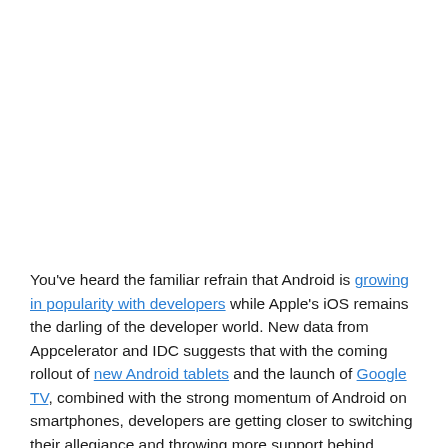You've heard the familiar refrain that Android is growing in popularity with developers while Apple's iOS remains the darling of the developer world. New data from Appcelerator and IDC suggests that with the coming rollout of new Android tablets and the launch of Google TV, combined with the strong momentum of Android on smartphones, developers are getting closer to switching their allegiance and throwing more support behind